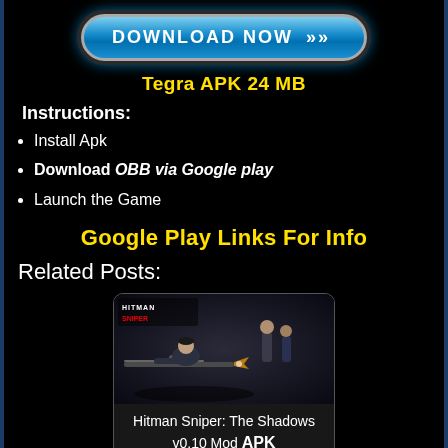[Figure (other): Blue Download Now button with arrows, metallic border styling]
Tegra APK 24 MB
Instructions:
Install Apk
Download OBB via Google play
Launch the Game
Google Play Links For Info
Related Posts:
[Figure (photo): Hitman Sniper game promotional image showing sniper character]
Hitman Sniper: The Shadows v0.10 Mod APK